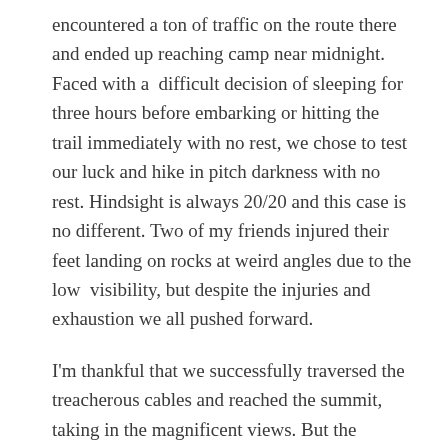encountered a ton of traffic on the route there and ended up reaching camp near midnight. Faced with a difficult decision of sleeping for three hours before embarking or hitting the trail immediately with no rest, we chose to test our luck and hike in pitch darkness with no rest. Hindsight is always 20/20 and this case is no different. Two of my friends injured their feet landing on rocks at weird angles due to the low visibility, but despite the injuries and exhaustion we all pushed forward.
I'm thankful that we successfully traversed the treacherous cables and reached the summit, taking in the magnificent views. But the trouble started after we went back to camp, ate our weight in pizza, and passed out for the night. I woke up to a strange sensation and hoped it was a dream. I couldn't move my neck. In that moment I was filled with sheer